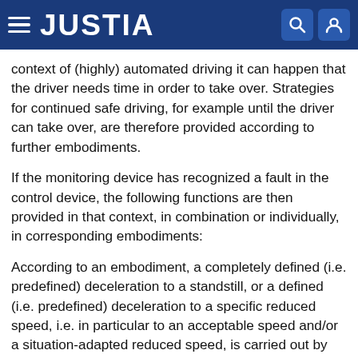JUSTIA
context of (highly) automated driving it can happen that the driver needs time in order to take over. Strategies for continued safe driving, for example until the driver can take over, are therefore provided according to further embodiments.
If the monitoring device has recognized a fault in the control device, the following functions are then provided in that context, in combination or individually, in corresponding embodiments:
According to an embodiment, a completely defined (i.e. predefined) deceleration to a standstill, or a defined (i.e. predefined) deceleration to a specific reduced speed, i.e. in particular to an acceptable speed and/or a situation-adapted reduced speed, is carried out by way of the monitoring device.